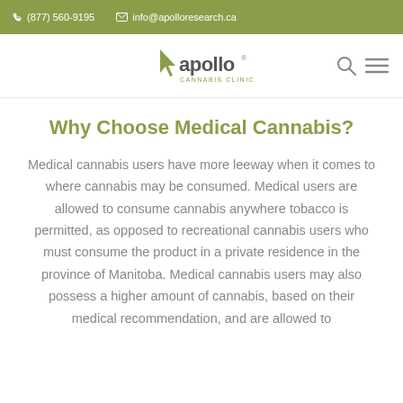(877) 560-9195  info@apolloresearch.ca
[Figure (logo): Apollo Cannabis Clinic logo with cursor/arrow icon and text 'apollo Cannabis Clinic']
Why Choose Medical Cannabis?
Medical cannabis users have more leeway when it comes to where cannabis may be consumed. Medical users are allowed to consume cannabis anywhere tobacco is permitted, as opposed to recreational cannabis users who must consume the product in a private residence in the province of Manitoba. Medical cannabis users may also possess a higher amount of cannabis, based on their medical recommendation, and are allowed to